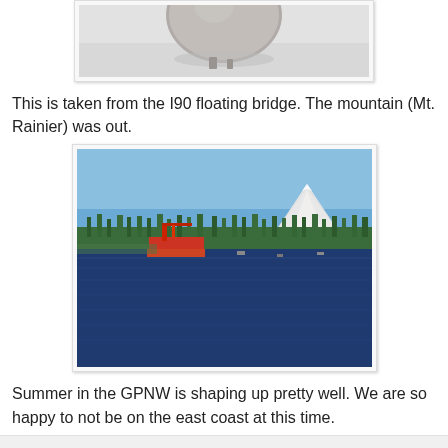[Figure (photo): Partial view of a photo taken from the I90 floating bridge, showing bottom portion of a spherical sculpture or object on concrete/white surface]
This is taken from the I90 floating bridge. The mountain (Mt. Rainier) was out.
[Figure (photo): Photo of Lake Washington taken from the I90 floating bridge showing the lake with a blue sky, tree-lined shore, a crane/barge on the water, and Mt. Rainier visible in the background with snow cap]
Summer in the GPNW is shaping up pretty well. We are so happy to not be on the east coast at this time.
Allison at 6:22 PM    No comments:    Share